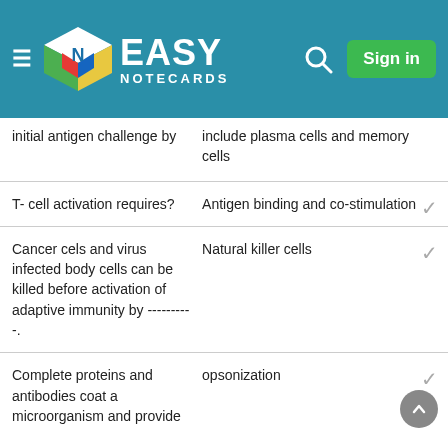Easy Notecards
initial antigen challenge by
T- cell activation requires?
Cancer cels and virus infected body cells can be killed before activation of adaptive immunity by ----------.
Complete proteins and antibodies coat a microorganism and provide